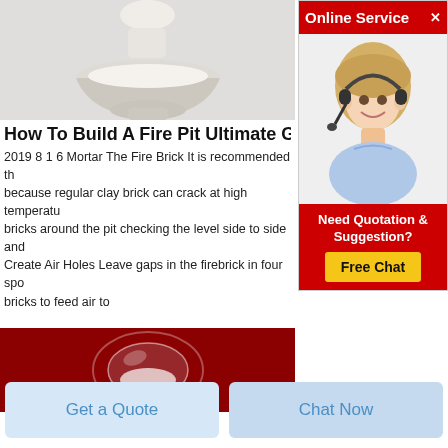[Figure (photo): A white ceramic mortar and pestle with white powder, on a light gray background, cropped showing top portion.]
How To Build A Fire Pit Ultimate Guide
2019 8 1 6 Mortar The Fire Brick It is recommended th... because regular clay brick can crack at high temperatu... bricks around the pit checking the level side to side and... Create Air Holes Leave gaps in the firebrick in four spo... bricks to feed air to
[Figure (photo): A glass or transparent object on a dark red/maroon background, showing white powder or material inside.]
[Figure (photo): Advertisement widget showing a woman with headset smiling, Online Service ad with Free Chat button and Need Quotation & Suggestion text.]
Get a Quote
Chat Now